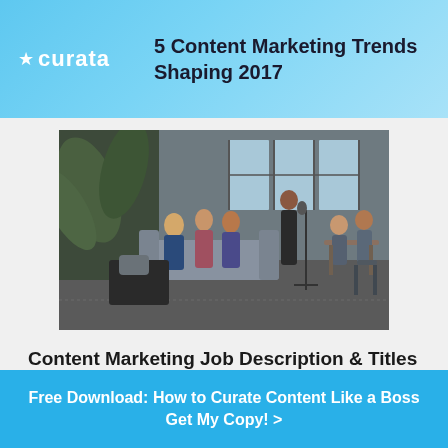★ curata   5 Content Marketing Trends Shaping 2017
[Figure (photo): Office scene with several people sitting on a couch reviewing documents and two people at a table in the background, in a modern loft-style space with large windows and plants.]
Content Marketing Job Description & Titles for Executives, Directors, Managers and Specialists
Free Download: How to Curate Content Like a Boss Get My Copy! >